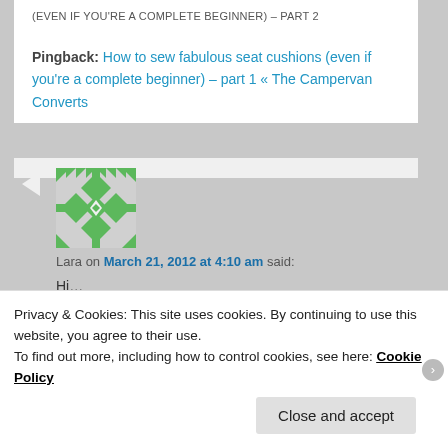(EVEN IF YOU'RE A COMPLETE BEGINNER) – PART 2
Pingback: How to sew fabulous seat cushions (even if you're a complete beginner) – part 1 « The Campervan Converts
Lara on March 21, 2012 at 4:10 am said:
Hi…
I'm just about to start this one myself… So I hope
Privacy & Cookies: This site uses cookies. By continuing to use this website, you agree to their use.
To find out more, including how to control cookies, see here: Cookie Policy